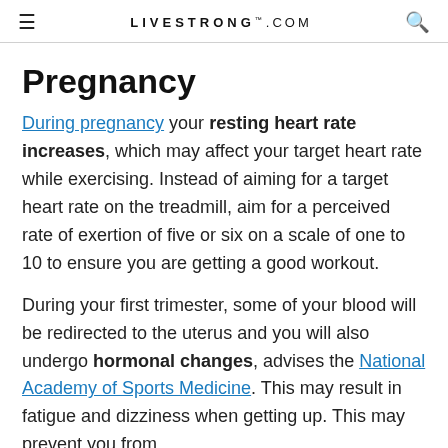LIVESTRONG.COM
Pregnancy
During pregnancy your resting heart rate increases, which may affect your target heart rate while exercising. Instead of aiming for a target heart rate on the treadmill, aim for a perceived rate of exertion of five or six on a scale of one to 10 to ensure you are getting a good workout.
During your first trimester, some of your blood will be redirected to the uterus and you will also undergo hormonal changes, advises the National Academy of Sports Medicine. This may result in fatigue and dizziness when getting up. This may prevent you from